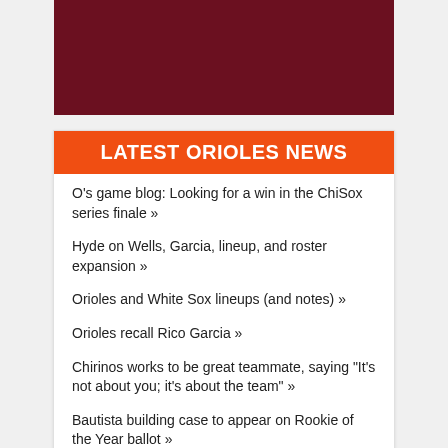[Figure (photo): Dark red/maroon colored rectangular image block at top of page]
LATEST ORIOLES NEWS
O's game blog: Looking for a win in the ChiSox series finale »
Hyde on Wells, Garcia, lineup, and roster expansion »
Orioles and White Sox lineups (and notes) »
Orioles recall Rico Garcia »
Chirinos works to be great teammate, saying "It's not about you; it's about the team" »
Bautista building case to appear on Rookie of the Year ballot »
Orioles unable to overcome latest early deficit (updated) »